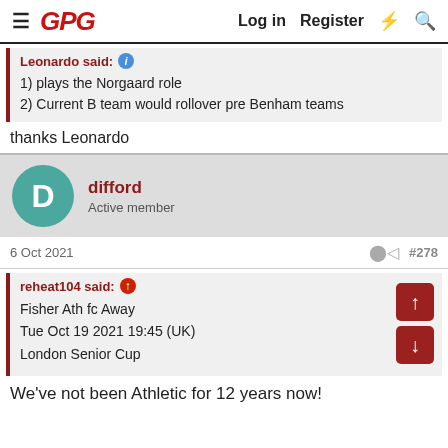GPG | Log in | Register
Leonardo said:
1) plays the Norgaard role
2) Current B team would rollover pre Benham teams
thanks Leonardo
difford
Active member
6 Oct 2021  #278
reheat104 said:
Fisher Ath fc Away
Tue Oct 19 2021 19:45 (UK)
London Senior Cup
We've not been Athletic for 12 years now!